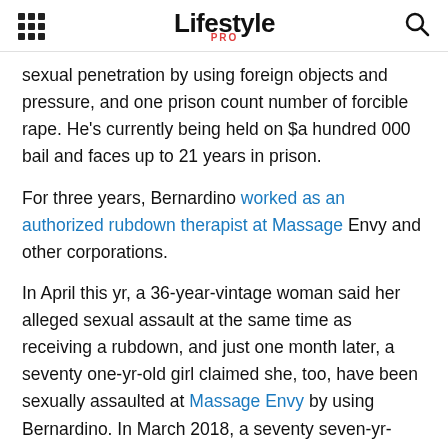Lifestyle PRO
sexual penetration by using foreign objects and pressure, and one prison count number of forcible rape. He's currently being held on $a hundred 000 bail and faces up to 21 years in prison.
For three years, Bernardino worked as an authorized rubdown therapist at Massage Envy and other corporations.
In April this yr, a 36-year-vintage woman said her alleged sexual assault at the same time as receiving a rubdown, and just one month later, a seventy one-yr-old girl claimed she, too, have been sexually assaulted at Massage Envy by using Bernardino. In March 2018, a seventy seven-yr-vintage lady claims he raped her while imparting her in-home fitness care.
Authorities believe he may additionally have other sufferers who have not yet come ahead, and as a result, circulated his image on